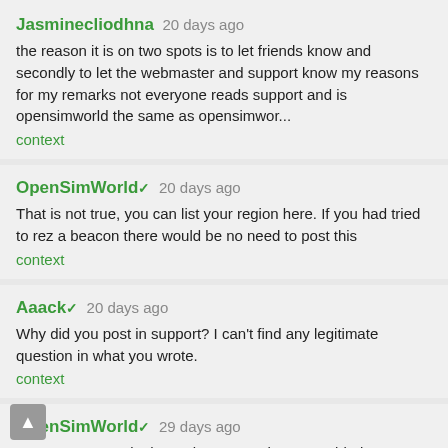Jasminecliodhna 20 days ago
the reason it is on two spots is to let friends know and secondly to let the webmaster and support know my reasons for my remarks not everyone reads support and is opensimworld the same as opensimwor...
context
OpenSimWorld 20 days ago
That is not true, you can list your region here. If you had tried to rez a beacon there would be no need to post this
context
Aaack 20 days ago
Why did you post in support? I can't find any legitimate question in what you wrote.
context
OpenSimWorld 29 days ago
you create posts in the region page. They are added automatically to the slideshow